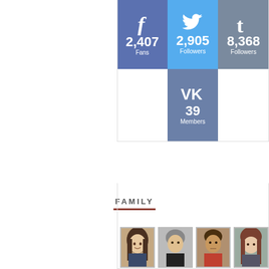[Figure (infographic): Social media follower counts: Facebook 2,407 Fans; Twitter 2,905 Followers; Tumblr 8,368 Followers; VK 39 Members]
FAMILY
[Figure (photo): Row of four portrait photos of family members]